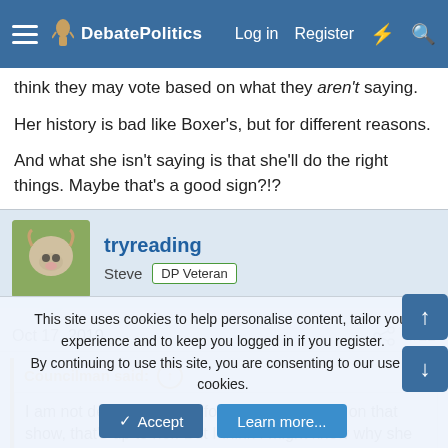DebatePolitics — Log in | Register
think they may vote based on what they aren't saying.

Her history is bad like Boxer's, but for different reasons.

And what she isn't saying is that she'll do the right things. Maybe that's a good sign?!?
tryreading
Steve  DP Veteran
Oct 17, 2010
#11
Councilman said:
I am not defending Carly for her performance on that show, that's up to her. But I think I might know why she is so none committal on so many
This site uses cookies to help personalise content, tailor your experience and to keep you logged in if you register.
By continuing to use this site, you are consenting to our use of cookies.
Accept  Learn more...